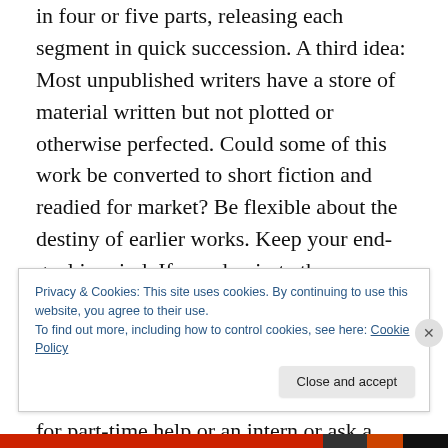in four or five parts, releasing each segment in quick succession. A third idea: Most unpublished writers have a store of material written but not plotted or otherwise perfected. Could some of this work be converted to short fiction and readied for market? Be flexible about the destiny of earlier works. Keep your end-goal in mind. If you do pirate these materials and send them out to market, there's every possibility you could expand upon them later in your career. And begin to build your team. Reach out to a college for part-time help or an intern or ask a family member for help.
Privacy & Cookies: This site uses cookies. By continuing to use this website, you agree to their use.
To find out more, including how to control cookies, see here: Cookie Policy